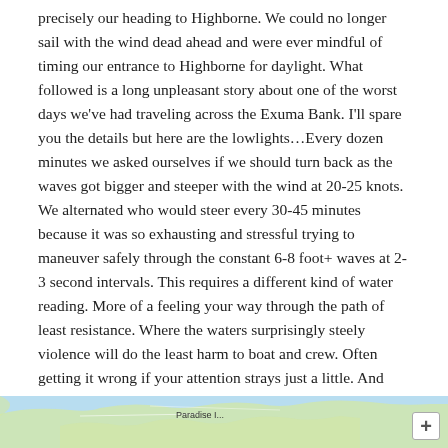precisely our heading to Highborne. We could no longer sail with the wind dead ahead and were ever mindful of timing our entrance to Highborne for daylight. What followed is a long unpleasant story about one of the worst days we've had traveling across the Exuma Bank. I'll spare you the details but here are the lowlights…Every dozen minutes we asked ourselves if we should turn back as the waves got bigger and steeper with the wind at 20-25 knots. We alternated who would steer every 30-45 minutes because it was so exhausting and stressful trying to maneuver safely through the constant 6-8 foot+ waves at 2-3 second intervals. This requires a different kind of water reading. More of a feeling your way through the path of least resistance. Where the waters surprisingly steely violence will do the least harm to boat and crew. Often getting it wrong if your attention strays just a little. And then Poseidon pounds against the sides of the bow with a thick wooden plank, hurling the sea over the bow, dodger and bimini.
[Figure (map): Partial view of a nautical/map image showing Paradise Island area, with a zoom-in plus button in the bottom right corner.]